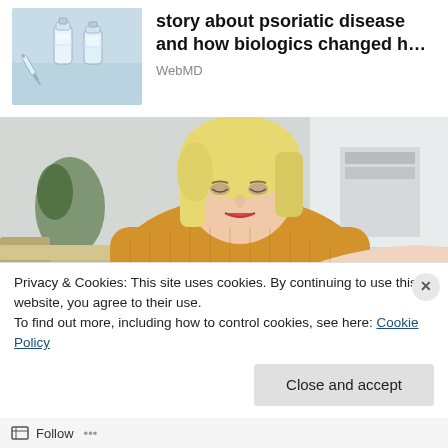[Figure (photo): Thumbnail image of vaccine vials and syringes on a blue background]
story about psoriatic disease and how biologics changed h…
WebMD
[Figure (photo): Photo of a blonde woman in a yellow sweater looking at her arm/wrist, possibly examining skin condition (psoriasis)]
Privacy & Cookies: This site uses cookies. By continuing to use this website, you agree to their use.
To find out more, including how to control cookies, see here: Cookie Policy
Close and accept
Follow